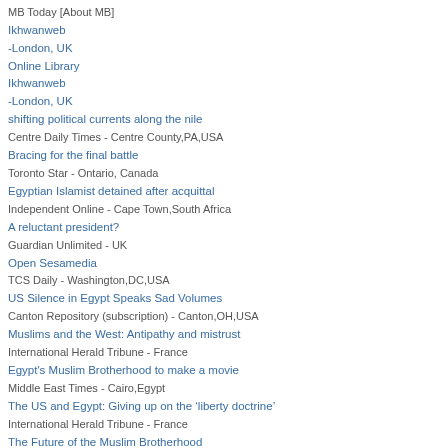MB Today [About MB]
Ikhwanweb -London, UK
Online Library
Ikhwanweb -London, UK
shifting political currents along the nile
Centre Daily Times - Centre County,PA,USA
Bracing for the final battle
Toronto Star - Ontario, Canada
Egyptian Islamist detained after acquittal
Independent Online - Cape Town,South Africa
A reluctant president?
Guardian Unlimited - UK
Open Sesamedia
TCS Daily - Washington,DC,USA
US Silence in Egypt Speaks Sad Volumes
Canton Repository (subscription) - Canton,OH,USA
Muslims and the West: Antipathy and mistrust
International Herald Tribune - France
Egypt's Muslim Brotherhood to make a movie
Middle East Times - Cairo,Egypt
The US and Egypt: Giving up on the ‘liberty doctrine’
International Herald Tribune - France
The Future of the Muslim Brotherhood
Amr Al-Chobaki, Al-Ahram Centre for Political and Strategic Studies - Cairo, Egypt
The West Abandons the Push For Democracy In The Arab World
Ikhwanweb, London-UK
Presidents in perpetuity
Al-Ahram Weekly - Cairo,Egypt
‘The battle is not over’